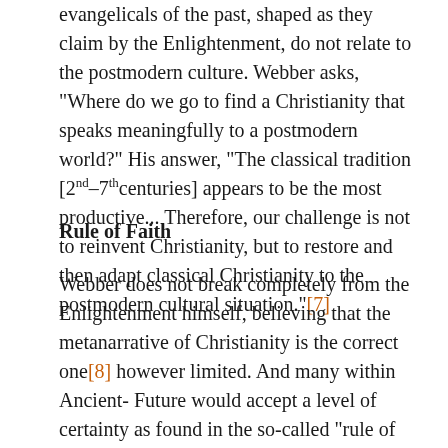evangelicals of the past, shaped as they claim by the Enlightenment, do not relate to the postmodern culture. Webber asks, "Where do we go to find a Christianity that speaks meaningfully to a postmodern world?" His answer, "The classical tradition [2nd–7thcenturies] appears to be the most productive... Therefore, our challenge is not to reinvent Christianity, but to restore and then adapt classical Christianity to the postmodern cultural situation."[7]
Rule of Faith
Webber does not break completely from the Enlightenment himself, believing that the metanarrative of Christianity is the correct one[8] however limited. And many within Ancient-Future would accept a level of certainty as found in the so-called "rule of faith." The "rule" "was regarded as a summary of the most important features of the Christian faith, a framework for the essential truths confessed by those who stood in the tradition of apostolic teachings."[9] The problem lies in determining the